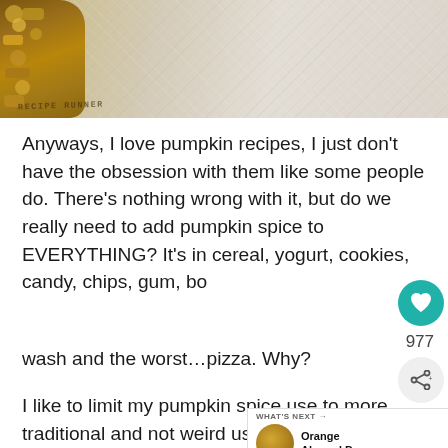[Figure (photo): Close-up photo of granola or nut clusters on a textured light background, with a watermark text 'RECIPE RUNNER' in the lower left corner.]
Anyways, I love pumpkin recipes, I just don't have the obsession with them like some people do. There's nothing wrong with it, but do we really need to add pumpkin spice to EVERYTHING? It's in cereal, yogurt, cookies, candy, chips, gum, bo... wash and the worst…pizza. Why?
I like to limit my pumpkin spice use to more traditional and not weird uses, like thes... cookies. I call them breakfast cookies because